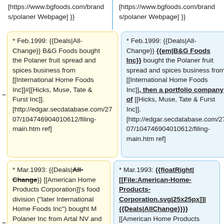[https://www.bgfoods.com/brands/polaner Webpage] }}
[https://www.bgfoods.com/brands/polaner Webpage] }}
* Feb.1999: {{Deals|All-Change}} B&G Foods bought the Polaner fruit spread and spices business from [[International Home Foods Inc]]#[[Hicks, Muse, Tate & Furst Inc]]. [http://edgar.secdatabase.com/2707/104746904010612/filing-main.htm ref]
* Feb.1999: {{Deals|All-Change}} {{em|B&G Foods Inc}} bought the Polaner fruit spread and spices business from [[International Home Foods Inc]], then a portfolio company of [[Hicks, Muse, Tate & Furst Inc]]. [http://edgar.secdatabase.com/2707/104746904010612/filing-main.htm ref]
* Mar.1993: {{Deals|All-Change}} [[American Home Products Corporation]]'s food division ("later International Home Foods Inc") bought M Polaner Inc from Artal NV and
* Mar.1993: {{floatRight|[[File:American-Home-Products-Corporation.svg|25x25px]]|{{Deals|AllChange}}}} [[American Home Products